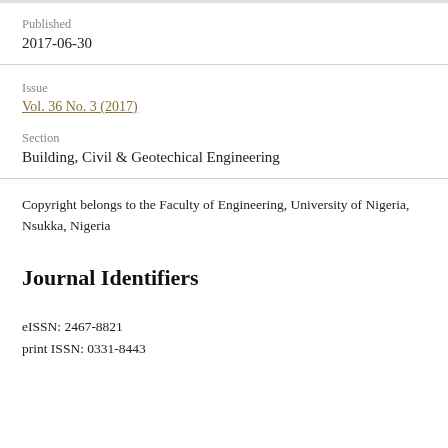Published
2017-06-30
Issue
Vol. 36 No. 3 (2017)
Section
Building, Civil & Geotechical Engineering
Copyright belongs to the Faculty of Engineering, University of Nigeria, Nsukka, Nigeria
Journal Identifiers
eISSN: 2467-8821
print ISSN: 0331-8443